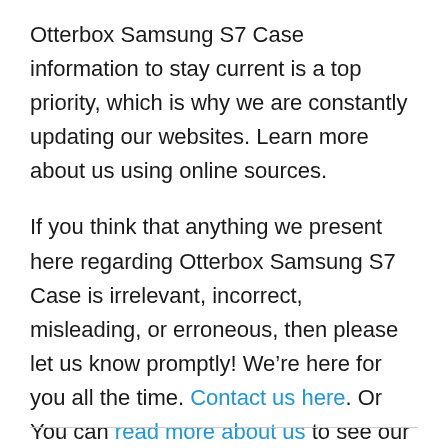Otterbox Samsung S7 Case information to stay current is a top priority, which is why we are constantly updating our websites. Learn more about us using online sources.
If you think that anything we present here regarding Otterbox Samsung S7 Case is irrelevant, incorrect, misleading, or erroneous, then please let us know promptly! We're here for you all the time. Contact us here. Or You can read more about us to see our vision.